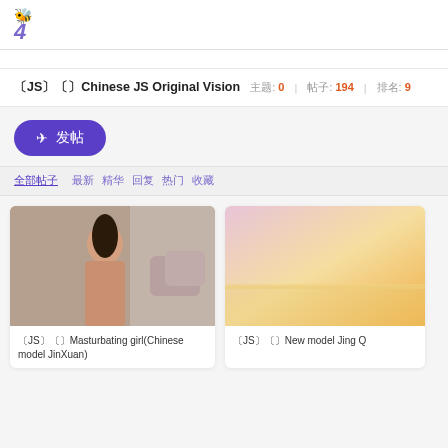[Figure (logo): Purple bee icon and italic bold lightning bolt logo]
〔JS〕〔〕Chinese JS Original Vision   主题: 0 | 帖子: 194 | 排名: 9
✈ 发帖
全部帖子   最新 精华 回复 热门 收藏
[Figure (photo): Young Asian woman sitting on a couch/bed with pillows]
〔JS〕〔〕Masturbating girl(Chinese model JinXuan)
[Figure (photo): Gradient sunset image in pink, peach, and yellow tones]
〔JS〕〔〕New model Jing Q